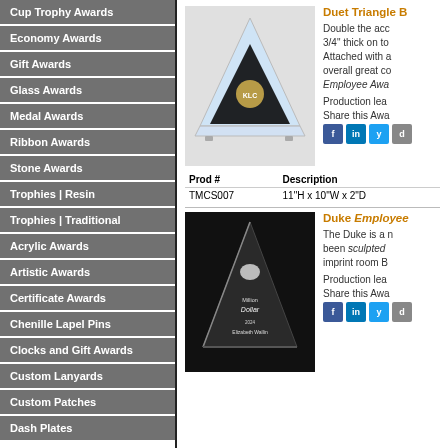Cup Trophy Awards
Economy Awards
Gift Awards
Glass Awards
Medal Awards
Ribbon Awards
Stone Awards
Trophies | Resin
Trophies | Traditional
Acrylic Awards
Artistic Awards
Certificate Awards
Chenille Lapel Pins
Clocks and Gift Awards
Custom Lanyards
Custom Patches
Dash Plates
Duet Triangle B
Double the acc 3/4" thick on to Attached with a overall great co Employee Awa
Production lea
Share this Awa
[Figure (photo): Crystal/acrylic triangular award with black base and gold logo]
| Prod # | Description |
| --- | --- |
| TMCS007 | 11"H x 10"W x 2"D |
Duke Employee
The Duke is a n been sculpted imprint room B
Production lea
Share this Awa
[Figure (photo): Black triangular award with silver logo and engraved text]